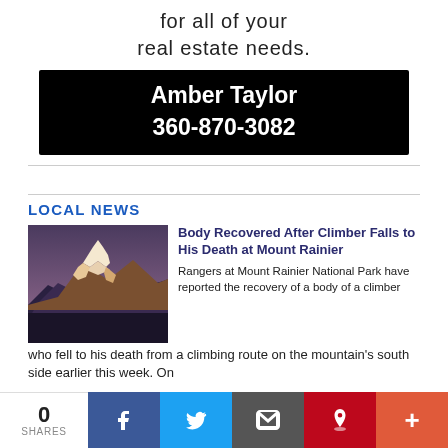for all of your real estate needs.
[Figure (infographic): Black box advertisement for Amber Taylor, phone 360-870-3082]
LOCAL NEWS
[Figure (photo): Photo of Mount Rainier, a snow-capped mountain at sunset/dusk with dark forested base and purple-blue sky]
Body Recovered After Climber Falls to His Death at Mount Rainier
Rangers at Mount Rainier National Park have reported the recovery of a body of a climber who fell to his death from a climbing route on the mountain's south side earlier this week. On
0 SHARES